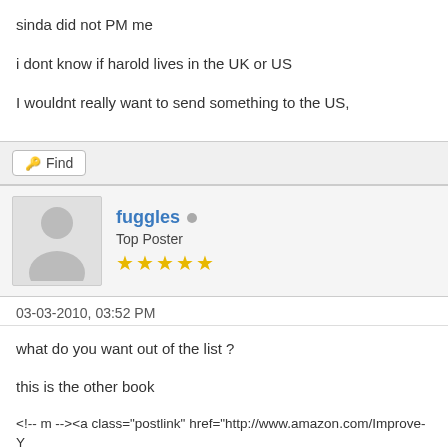sinda did not PM me
i dont know if harold lives in the UK or US
I wouldnt really want to send something to the US,
Find
fuggles • Top Poster ★★★★★
03-03-2010, 03:52 PM
what do you want out of the list ?
this is the other book
<!-- m --><a class="postlink" href="http://www.amazon.com/Improve-Your-Eyes ... 3937553088</a><!-- m -->